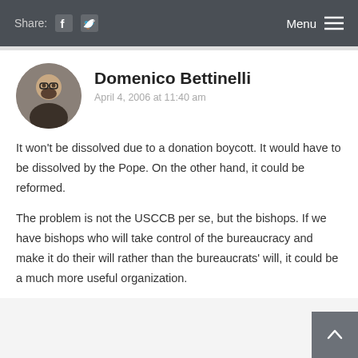Share: [facebook] [twitter]   Menu [≡]
Domenico Bettinelli
April 4, 2006 at 11:40 am
It won't be dissolved due to a donation boycott. It would have to be dissolved by the Pope. On the other hand, it could be reformed.
The problem is not the USCCB per se, but the bishops. If we have bishops who will take control of the bureaucracy and make it do their will rather than the bureaucrats' will, it could be a much more useful organization.